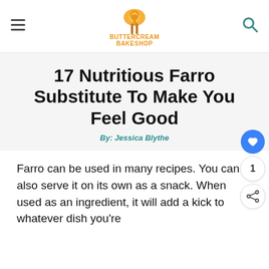[Figure (logo): Buttercream Bakeshop logo with mixer icon and text]
17 Nutritious Farro Substitute To Make You Feel Good
By: Jessica Blythe
Farro can be used in many recipes. You can also serve it on its own as a snack. When used as an ingredient, it will add a kick to whatever dish you're